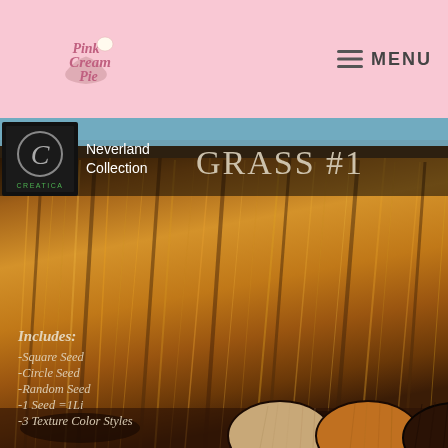Pink Cream Pie — MENU
[Figure (screenshot): Product listing image for 'Grass #1' from the Neverland Collection by Creatica. Shows a field of dry golden-brown grass texture. Includes a top banner with the Creatica logo, 'Neverland Collection' text, and 'GRASS #1' title. Overlaid text reads: 'Includes: -Square Seed -Circle Seed -Random Seed -1 Seed =1Li -3 Texture Color Styles'. Three oval color swatches are visible at the bottom showing light tan, medium orange-brown, and dark brown variants.]